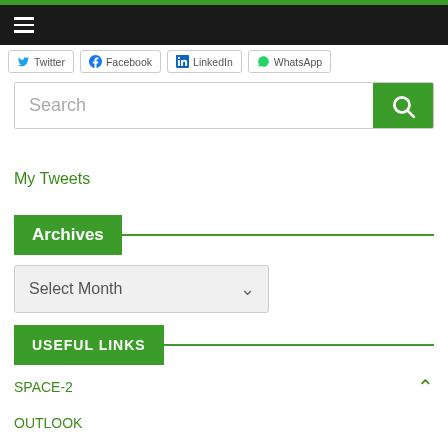Navigation bar with hamburger menu
Twitter  Facebook  LinkedIn  WhatsApp
Search
My Tweets
Archives
Select Month
USEFUL LINKS
SPACE-2
OUTLOOK